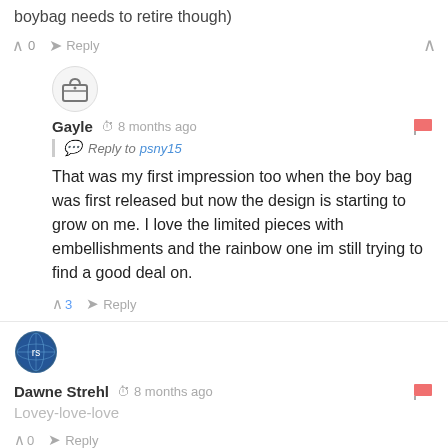boybag needs to retire though)
↑ 0  Reply  ∧
Gayle  8 months ago
Reply to psny15
That was my first impression too when the boy bag was first released but now the design is starting to grow on me. I love the limited pieces with embellishments and the rainbow one im still trying to find a good deal on.
↑ 3  Reply
Dawne Strehl  8 months ago
Lovey-love-love
↑ 0  Reply